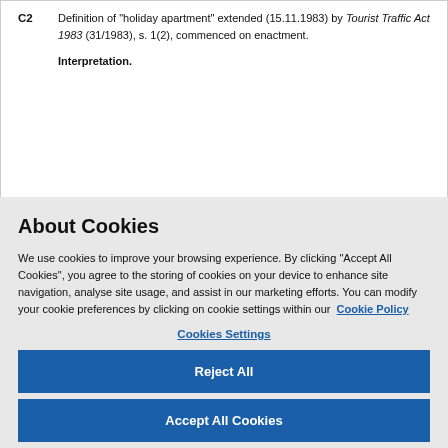C2   Definition of "holiday apartment" extended (15.11.1983) by Tourist Traffic Act 1983 (31/1983), s. 1(2), commenced on enactment.

Interpretation.
About Cookies
We use cookies to improve your browsing experience. By clicking "Accept All Cookies", you agree to the storing of cookies on your device to enhance site navigation, analyse site usage, and assist in our marketing efforts. You can modify your cookie preferences by clicking on cookie settings within our  Cookie Policy
Cookies Settings
Reject All
Accept All Cookies